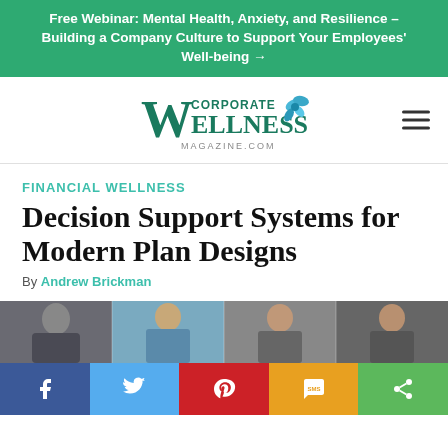Free Webinar: Mental Health, Anxiety, and Resilience – Building a Company Culture to Support Your Employees' Well-being →
[Figure (logo): Corporate Wellness Magazine logo with teal/green text and blue flower icon]
FINANCIAL WELLNESS
Decision Support Systems for Modern Plan Designs
By Andrew Brickman
[Figure (photo): Photo strip showing business people in meeting/discussion scenes]
[Figure (infographic): Social share buttons bar: Facebook, Twitter, Pinterest, SMS, Share]